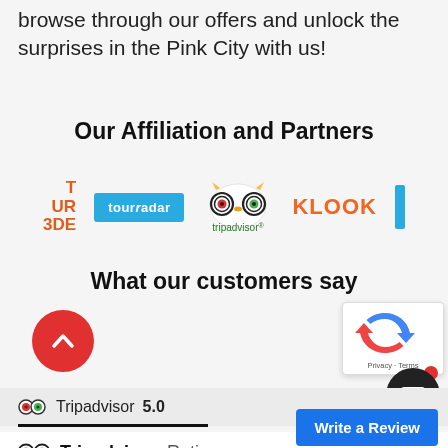browse through our offers and unlock the surprises in the Pink City with us!
Our Affiliation and Partners
[Figure (logo): Row of partner logos: partial red/orange logo on left, tourradar blue logo, tripadvisor owl logo, KLOOK orange logo, partial blue logo on right]
What our customers say
[Figure (other): Red circular scroll-up button with upward chevron arrow]
[Figure (other): reCAPTCHA widget overlay with Privacy and Terms links]
[Figure (other): Dark circular mail/message button with red notification dot]
Tripadvisor  5.0
Tripadvisor Rating
[Figure (other): Write a Review blue button]